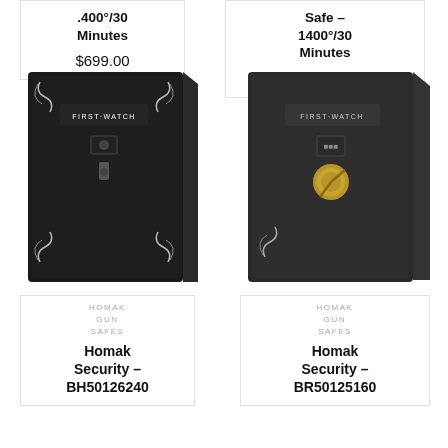.400°/30 Minutes
$699.00
Safe – 1400°/30 Minutes
$849.99
[Figure (photo): Dark gun safe with First Watch branding, electronic lock, black finish]
[Figure (photo): Dark gun safe with First Watch branding, combination dial lock, gold handle, black finish]
HOMAK GUN SAFES
Homak Security – BH50126240
HOMAK GUN SAFES
Homak Security – BR50125160